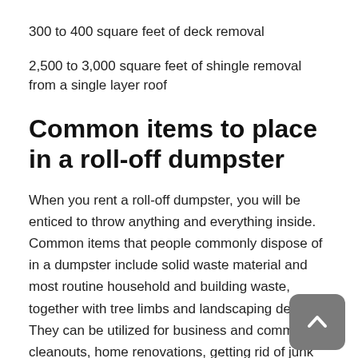300 to 400 square feet of deck removal
2,500 to 3,000 square feet of shingle removal from a single layer roof
Common items to place in a roll-off dumpster
When you rent a roll-off dumpster, you will be enticed to throw anything and everything inside. Common items that people commonly dispose of in a dumpster include solid waste material and most routine household and building waste, together with tree limbs and landscaping debris. They can be utilized for business and commercial cleanouts, home renovations, getting rid of junk when you're moving to another house, larger landscaping jobs and more.
A record of stuff you CAn't place in a roll-off dumpster includes paints and solvents, automotive fluids, pesticides, chemicals,